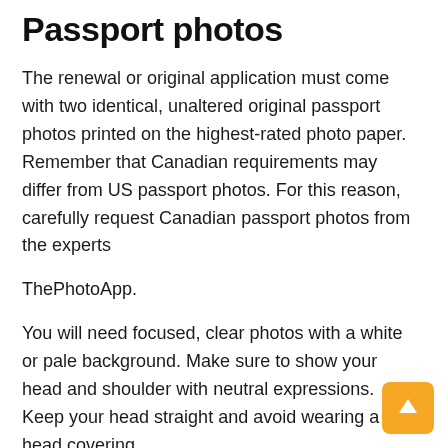Passport photos
The renewal or original application must come with two identical, unaltered original passport photos printed on the highest-rated photo paper. Remember that Canadian requirements may differ from US passport photos. For this reason, carefully request Canadian passport photos from the experts
ThePhotoApp.
You will need focused, clear photos with a white or pale background. Make sure to show your head and shoulder with neutral expressions. Keep your head straight and avoid wearing a head covering.
You may be allowed to wear something for religious reasons. You shouldn't obscure your facial features. Feel free to wear glasses, but they shouldn't have tint or glare. Photographs must be 50 x 70 mm wide, 2 "